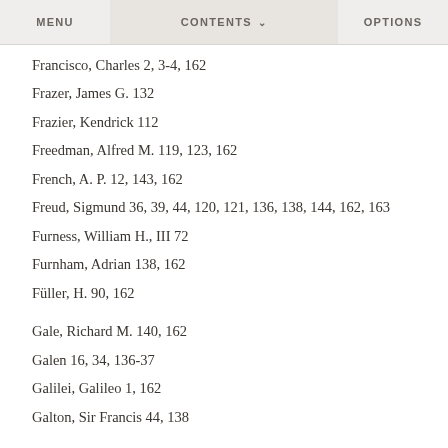MENU   CONTENTS   OPTIONS
Francisco, Charles 2, 3-4, 162
Frazer, James G. 132
Frazier, Kendrick 112
Freedman, Alfred M. 119, 123, 162
French, A. P. 12, 143, 162
Freud, Sigmund 36, 39, 44, 120, 121, 136, 138, 144, 162, 163
Furness, William H., III 72
Furnham, Adrian 138, 162
Füller, H. 90, 162
Gale, Richard M. 140, 162
Galen 16, 34, 136-37
Galilei, Galileo 1, 162
Galton, Sir Francis 44, 138